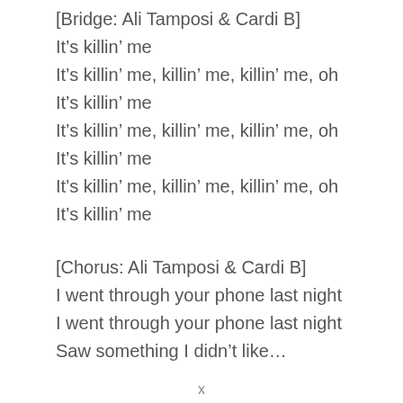[Bridge: Ali Tamposi & Cardi B]
It’s killin’ me
It’s killin’ me, killin’ me, killin’ me, oh
It’s killin’ me
It’s killin’ me, killin’ me, killin’ me, oh
It’s killin’ me
It’s killin’ me, killin’ me, killin’ me, oh
It’s killin’ me
[Chorus: Ali Tamposi & Cardi B]
I went through your phone last night
I went through your phone last night
Saw something I didn’t like…
x